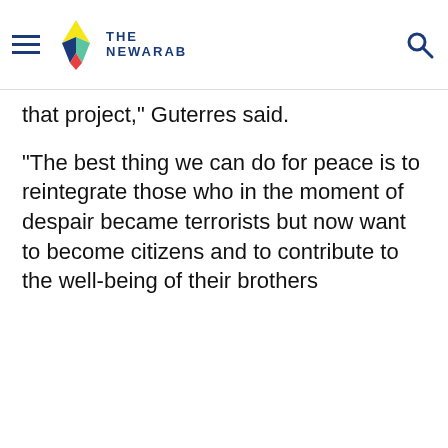The New Arab
that project," Guterres said.
"The best thing we can do for peace is to reintegrate those who in the moment of despair became terrorists but now want to become citizens and to contribute to the well-being of their brothers and sisters."
We use our own third-party cookies to study and analyze the use of the website and to improve our services and functionalities.

By continuing to browse our site, you agree to the use of cookies and our Privacy Policy.
Accept